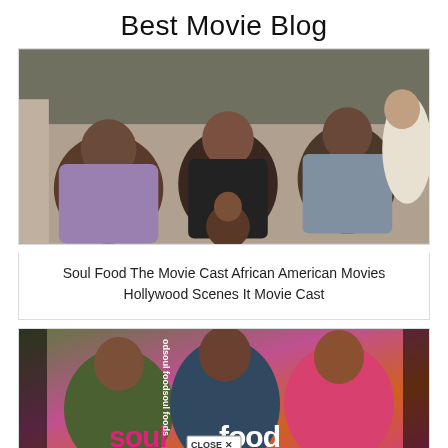Best Movie Blog
[Figure (photo): Group photo of the Soul Food movie cast — several African American adults and a child posed together on a couch]
Soul Food The Movie Cast African American Movies Hollywood Scenes It Movie Cast
[Figure (photo): Soul Food TV/movie promotional image with three women in colorful outfits and 'soul food' text logo in pink; sidebar text reads 'soul food' repeated; a 'CLOSE X' button overlay visible]